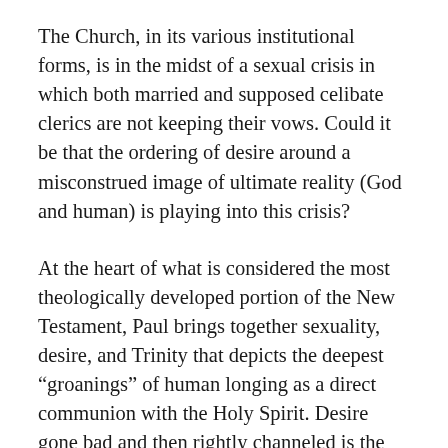The Church, in its various institutional forms, is in the midst of a sexual crisis in which both married and supposed celibate clerics are not keeping their vows. Could it be that the ordering of desire around a misconstrued image of ultimate reality (God and human) is playing into this crisis?
At the heart of what is considered the most theologically developed portion of the New Testament, Paul brings together sexuality, desire, and Trinity that depicts the deepest “groanings” of human longing as a direct communion with the Holy Spirit. Desire gone bad and then rightly channeled is the substance of Paul’s depiction of redemption.